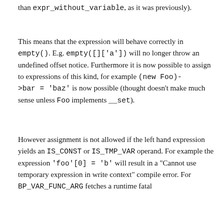than expr_without_variable, as it was previously).
This means that the expression will behave correctly in empty(). E.g. empty([][' a']) will no longer throw an undefined offset notice. Furthermore it is now possible to assign to expressions of this kind, for example (new Foo)->bar = 'baz' is now possible (thought doesn't make much sense unless Foo implements __set).
However assignment is not allowed if the left hand expression yields an IS_CONST or IS_TMP_VAR operand. For example the expression 'foo'[0] = 'b' will result in a "Cannot use temporary expression in write context" compile error. For BP_VAR_FUNC_ARG fetches a runtime fatal